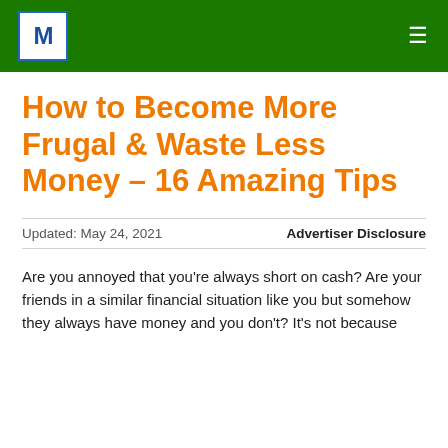M — [logo] | ≡ [menu]
How to Become More Frugal & Waste Less Money – 16 Amazing Tips
Updated: May 24, 2021    Advertiser Disclosure
Are you annoyed that you're always short on cash? Are your friends in a similar financial situation like you but somehow they always have money and you don't? It's not because